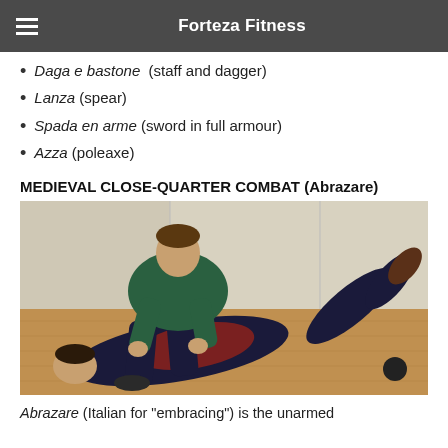Forteza Fitness
Daga e bastone (staff and dagger)
Lanza (spear)
Spada en arme (sword in full armour)
Azza (poleaxe)
MEDIEVAL CLOSE-QUARTER COMBAT (Abrazare)
[Figure (photo): Two people demonstrating a medieval close-quarter combat technique: one person in a green jacket is standing over another person who is on the ground, grappling for control. They are on a wooden floor in an indoor setting.]
Abrazare (Italian for “embracing”) is the unarmed